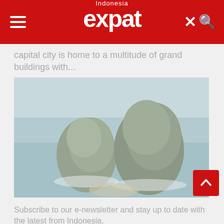Indonesia expat
capital city is home to a multitude of grand buildings with...
[Figure (photo): Aerial view of two large rocky island formations rising from turquoise coastal waters, with sandy beaches and white surf around their bases]
Subscribe to our e-newsletter and stay up to date with the latest from Indonesia.
Enter Your Email
Surabaya: A Journey Through Time
Have you ever wondered why Surabaya is nicknamed